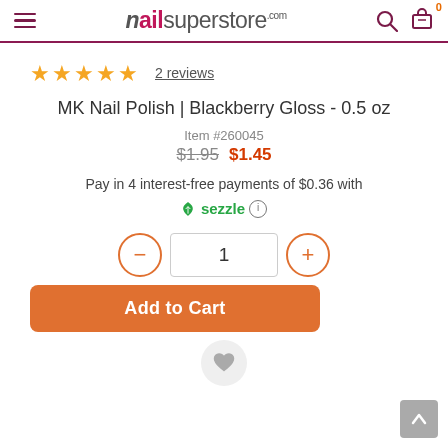nailsuperstore.com
[Figure (other): Five filled orange/gold star rating icons]
2 reviews
MK Nail Polish | Blackberry Gloss - 0.5 oz
Item #260045
$1.95  $1.45
Pay in 4 interest-free payments of $0.36 with Sezzle
1 (quantity input with minus and plus buttons)
Add to Cart
[Figure (other): Wishlist heart button (circle with heart icon)]